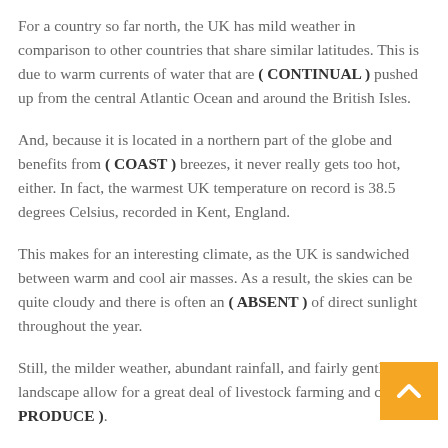For a country so far north, the UK has mild weather in comparison to other countries that share similar latitudes. This is due to warm currents of water that are ( CONTINUAL ) pushed up from the central Atlantic Ocean and around the British Isles.
And, because it is located in a northern part of the globe and benefits from ( COAST ) breezes, it never really gets too hot, either. In fact, the warmest UK temperature on record is 38.5 degrees Celsius, recorded in Kent, England.
This makes for an interesting climate, as the UK is sandwiched between warm and cool air masses. As a result, the skies can be quite cloudy and there is often an ( ABSENT ) of direct sunlight throughout the year.
Still, the milder weather, abundant rainfall, and fairly gentle landscape allow for a great deal of livestock farming and crop ( PRODUCE ).
While snow falls in Scotland and ( MOUNTAIN ) areas on around 40-50 days per year, the south west of